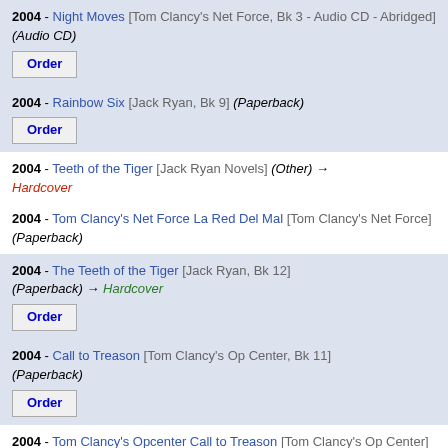2004 - Night Moves [Tom Clancy's Net Force, Bk 3 - Audio CD - Abridged] (Audio CD) [Order button]
2004 - Rainbow Six [Jack Ryan, Bk 9] (Paperback) [Order button]
2004 - Teeth of the Tiger [Jack Ryan Novels] (Other) → Hardcover
2004 - Tom Clancy's Net Force La Red Del Mal [Tom Clancy's Net Force] (Paperback)
2004 - The Teeth of the Tiger [Jack Ryan, Bk 12] (Paperback) → Hardcover [Order button]
2004 - Call to Treason [Tom Clancy's Op Center, Bk 11] (Paperback) [Order button]
2004 - Tom Clancy's Opcenter Call to Treason [Tom Clancy's Op Center] (Audio Cassette)